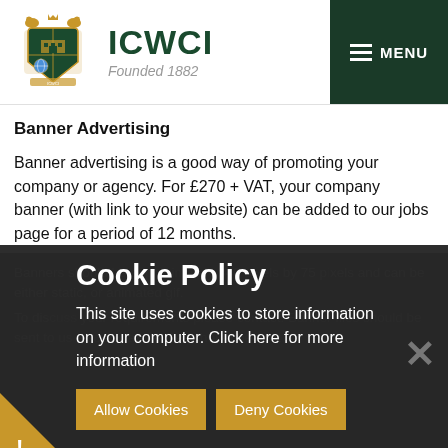[Figure (logo): ICWCI coat of arms logo with lions and shield]
ICWCI
Founded 1882
MENU
Banner Advertising
Banner advertising is a good way of promoting your company or agency.  For £270 + VAT, your company banner (with link to your website) can be added to our jobs page for a period of 12 months.
Banners should be approximately 340 pixels by 75 pixels and can be either static, or animated gif.
To discuss your requirements please contact... also to banner files should be sent...
Cookie Policy
This site uses cookies to store information on your computer. Click here for more information
Allow Cookies   Deny Cookies